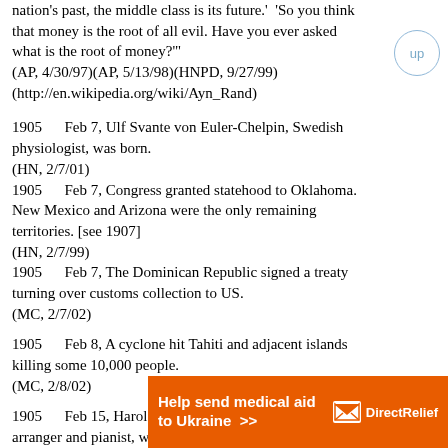nation's past, the middle class is its future.' 'So you think that money is the root of all evil. Have you ever asked what is the root of money?'"
    (AP, 4/30/97)(AP, 5/13/98)(HNPD, 9/27/99)(http://en.wikipedia.org/wiki/Ayn_Rand)
1905      Feb 7, Ulf Svante von Euler-Chelpin, Swedish physiologist, was born.
    (HN, 2/7/01)
1905      Feb 7, Congress granted statehood to Oklahoma. New Mexico and Arizona were the only remaining territories. [see 1907]
    (HN, 2/7/99)
1905      Feb 7, The Dominican Republic signed a treaty turning over customs collection to US.
    (MC, 2/7/02)
1905      Feb 8, A cyclone hit Tahiti and adjacent islands killing some 10,000 people.
    (MC, 2/8/02)
1905      Feb 15, Harold Arlen (d.1986), composer, arranger and pianist, was born as
[Figure (other): Orange advertisement banner for DirectRelief: 'Help send medical aid to Ukraine >>' with DirectRelief logo]